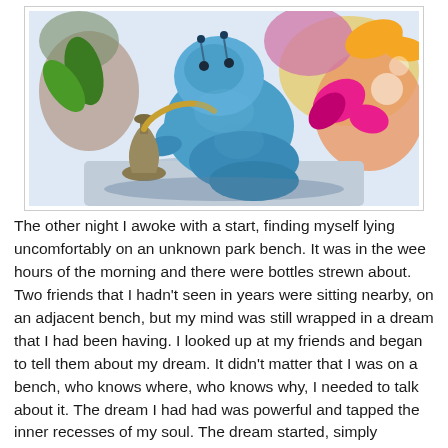[Figure (photo): A blue CGI caterpillar figure (resembling the Caterpillar from Alice in Wonderland) leaning over a hookah/water pipe on a grey mushroom surface, with a colorful psychedelic background featuring butterflies and flowers.]
The other night I awoke with a start, finding myself lying uncomfortably on an unknown park bench. It was in the wee hours of the morning and there were bottles strewn about. Two friends that I hadn't seen in years were sitting nearby, on an adjacent bench, but my mind was still wrapped in a dream that I had been having. I looked up at my friends and began to tell them about my dream. It didn't matter that I was on a bench, who knows where, who knows why, I needed to talk about it. The dream I had had was powerful and tapped the inner recesses of my soul. The dream started, simply